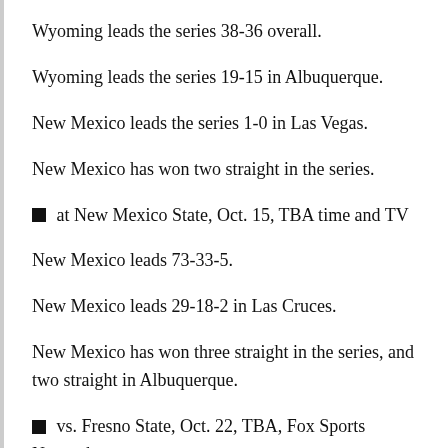Wyoming leads the series 38-36 overall.
Wyoming leads the series 19-15 in Albuquerque.
New Mexico leads the series 1-0 in Las Vegas.
New Mexico has won two straight in the series.
■ at New Mexico State, Oct. 15, TBA time and TV
New Mexico leads 73-33-5.
New Mexico leads 29-18-2 in Las Cruces.
New Mexico has won three straight in the series, and two straight in Albuquerque.
■ vs. Fresno State, Oct. 22, TBA, Fox Sports Networks